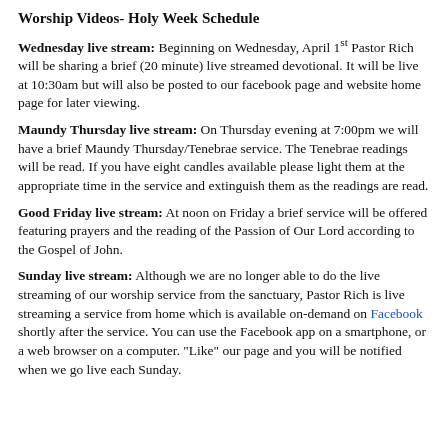Worship Videos- Holy Week Schedule
Wednesday live stream: Beginning on Wednesday, April 1st Pastor Rich will be sharing a brief (20 minute) live streamed devotional. It will be live at 10:30am but will also be posted to our facebook page and website home page for later viewing.
Maundy Thursday live stream: On Thursday evening at 7:00pm we will have a brief Maundy Thursday/Tenebrae service. The Tenebrae readings will be read. If you have eight candles available please light them at the appropriate time in the service and extinguish them as the readings are read.
Good Friday live stream: At noon on Friday a brief service will be offered featuring prayers and the reading of the Passion of Our Lord according to the Gospel of John.
Sunday live stream: Although we are no longer able to do the live streaming of our worship service from the sanctuary, Pastor Rich is live streaming a service from home which is available on-demand on Facebook shortly after the service. You can use the Facebook app on a smartphone, or a web browser on a computer. "Like" our page and you will be notified when we go live each Sunday.